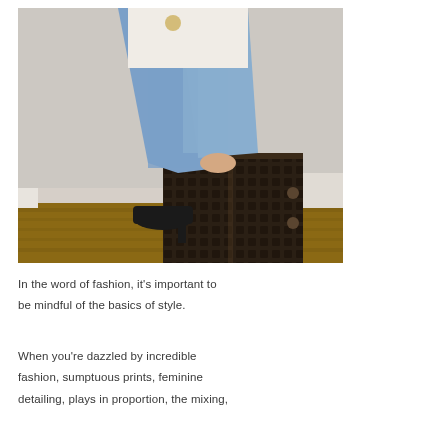[Figure (photo): A woman wearing a white/cream cardigan, blue skinny jeans, and black heeled mules, sitting on a large dark brown Louis Vuitton-style patterned trunk on a hardwood floor against a beige wall.]
In the word of fashion, it's important to be mindful of the basics of style.
When you're dazzled by incredible fashion, sumptuous prints, feminine detailing, plays in proportion, the mixing,